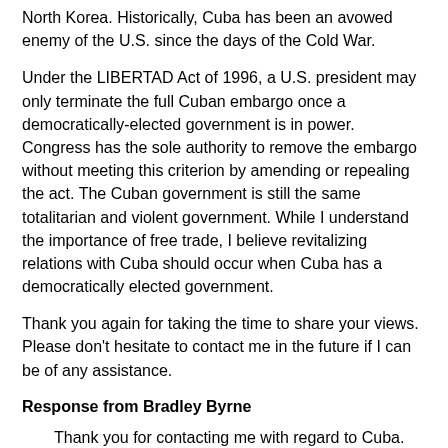North Korea.  Historically, Cuba has been an avowed enemy of the U.S. since the days of the Cold War.
Under the LIBERTAD Act of 1996, a U.S. president may only terminate the full Cuban embargo once a democratically-elected government is in power.  Congress has the sole authority to remove the embargo without meeting this criterion by amending or repealing the act. The Cuban government is still the same totalitarian and violent government.  While I understand the importance of free trade,  I believe revitalizing relations with Cuba should occur when Cuba has a democratically elected government.
Thank you again for taking the time to share your views.  Please don't hesitate to contact me in the future if I can be of any assistance.
Response from Bradley Byrne
Thank you for contacting me with regard to Cuba.